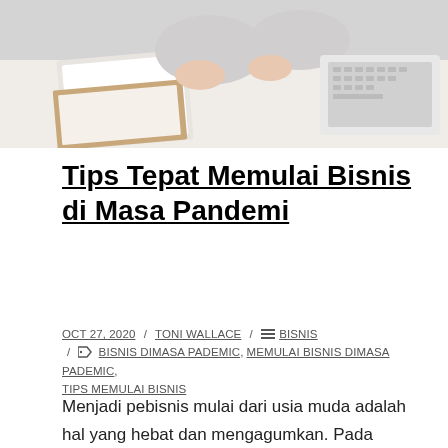[Figure (photo): Overhead photo of a person working at a desk with documents and a laptop keyboard visible]
Tips Tepat Memulai Bisnis di Masa Pandemi
OCT 27, 2020 / TONI WALLACE / BISNIS / BISNIS DIMASA PADEMIC, MEMULAI BISNIS DIMASA PADEMIC, TIPS MEMULAI BISNIS
Menjadi pebisnis mulai dari usia muda adalah hal yang hebat dan mengagumkan. Pada dasarnya memulai bisnis memang tidaklah mudah, banyak tantangan yang harus dihadapi terutama bagi pemula. Dibutuhkan kerja keras dan nyali yang besar sebagai tips memulai bisnis untuk meraih sebuah kesuksesan. Di...